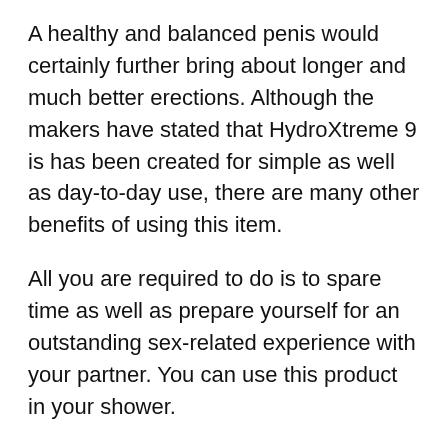A healthy and balanced penis would certainly further bring about longer and much better erections. Although the makers have stated that HydroXtreme 9 is has been created for simple as well as day-to-day use, there are many other benefits of using this item.
All you are required to do is to spare time as well as prepare yourself for an outstanding sex-related experience with your partner. You can use this product in your shower.
It takes only 15 mins for this gadget to help you achieve everything that you have actually been long food craving. Not only this, however the makers additionally assert that you might achieve a penile size increase